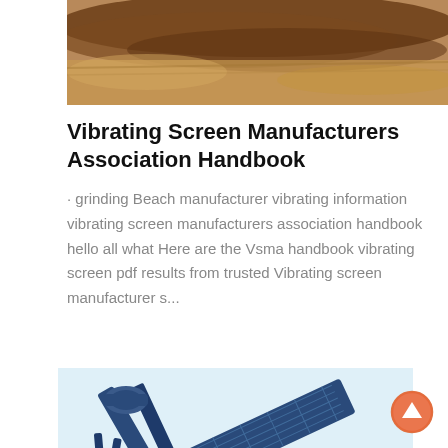[Figure (photo): Top portion of a photo showing sand and soil material, brown and tan colored ground/aggregate.]
Vibrating Screen Manufacturers Association Handbook
· grinding Beach manufacturer vibrating information vibrating screen manufacturers association handbook hello all what Here are the Vsma handbook vibrating screen pdf results from trusted Vibrating screen manufacturer s...
[Figure (photo): Photo of a blue vibrating screen machine/equipment against a light blue sky background.]